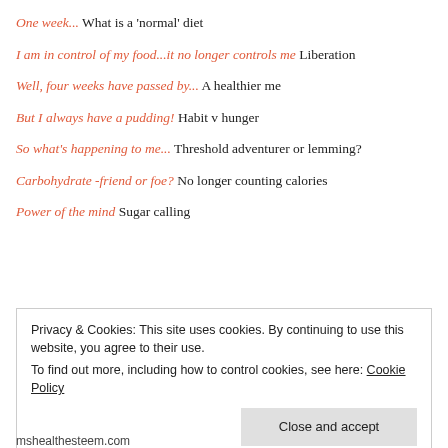One week... What is a 'normal' diet
I am in control of my food...it no longer controls me Liberation
Well, four weeks have passed by... A healthier me
But I always have a pudding! Habit v hunger
So what's happening to me... Threshold adventurer or lemming?
Carbohydrate -friend or foe? No longer counting calories
Power of the mind Sugar calling
Privacy & Cookies: This site uses cookies. By continuing to use this website, you agree to their use.
To find out more, including how to control cookies, see here: Cookie Policy
Close and accept
mshealthesteem.com